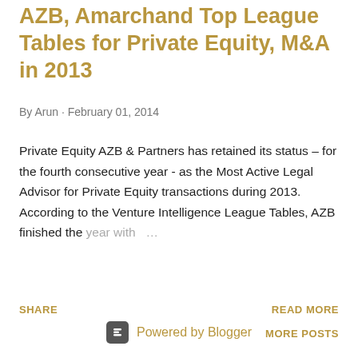AZB, Amarchand Top League Tables for Private Equity, M&A in 2013
By Arun · February 01, 2014
Private Equity AZB & Partners has retained its status – for the fourth consecutive year - as the Most Active Legal Advisor for Private Equity transactions during 2013. According to the Venture Intelligence League Tables, AZB finished the year with …
SHARE
READ MORE
MORE POSTS
Powered by Blogger